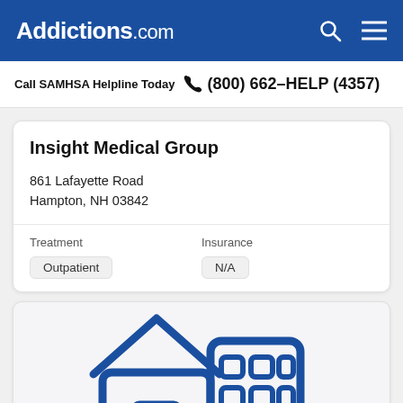Addictions.com
Call SAMHSA Helpline Today  (800) 662-HELP (4357)
Insight Medical Group
861 Lafayette Road
Hampton, NH 03842
Treatment
Outpatient
Insurance
N/A
[Figure (illustration): Blue outline icon of a house/building combination representing a medical or treatment facility]